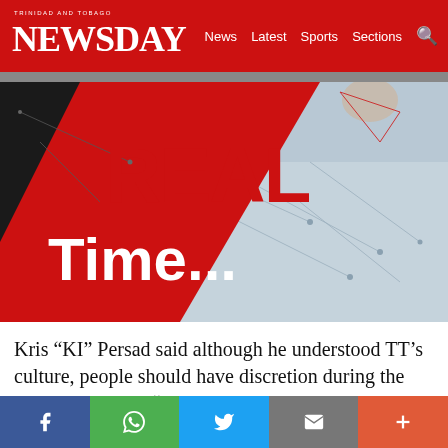TRINIDAD AND TOBAGO NEWSDAY | News  Latest  Sports  Sections
[Figure (illustration): Promotional graphic for 'Real Time...' segment with red diagonal band and text REAL Time... on dark/light geometric background with network lines and a person in background]
Kris “KI” Persad said although he understood TT’s culture, people should have discretion during the Carnival season. “We must make sure